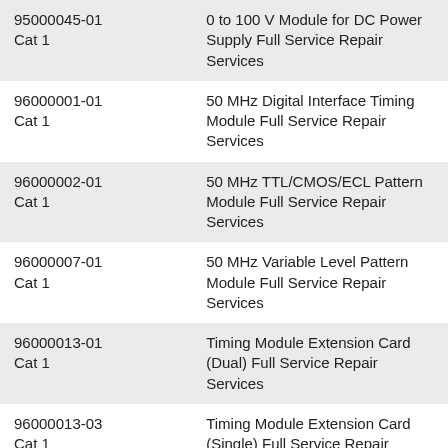| Part Number / Category | Description |
| --- | --- |
| 95000045-01
Cat 1 | 0 to 100 V Module for DC Power Supply Full Service Repair Services |
| 96000001-01
Cat 1 | 50 MHz Digital Interface Timing Module Full Service Repair Services |
| 96000002-01
Cat 1 | 50 MHz TTL/CMOS/ECL Pattern Module Full Service Repair Services |
| 96000007-01
Cat 1 | 50 MHz Variable Level Pattern Module Full Service Repair Services |
| 96000013-01
Cat 1 | Timing Module Extension Card (Dual) Full Service Repair Services |
| 96000013-03
Cat 1 | Timing Module Extension Card (Single) Full Service Repair Services |
| 96000014-01
Cat 1 | High Power Mainframe - 6 Slots Full Service Repair Services |